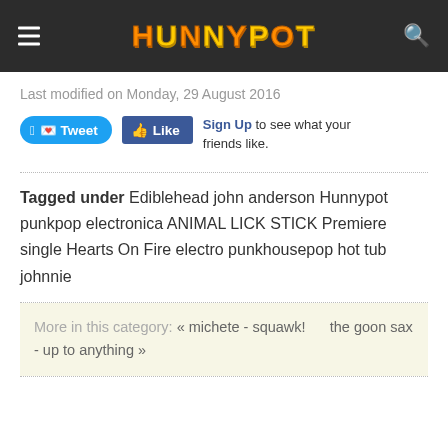HUNNYPOT
Last modified on Monday, 29 August 2016
Tweet  Like  Sign Up to see what your friends like.
Tagged under  Ediblehead  john anderson  Hunnypot  punkpop  electronica  ANIMAL LICK STICK  Premiere single  Hearts On Fire  electro  punkhousepop  hot tub johnnie
More in this category:  « michete - squawk!      the goon sax - up to anything »